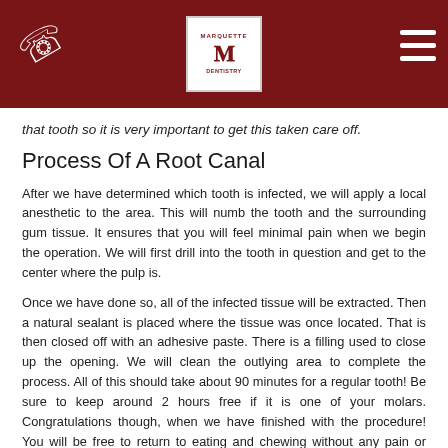Marquette Dentistry — navigation header with logo and phone icon
that tooth so it is very important to get this taken care off.
Process Of A Root Canal
After we have determined which tooth is infected, we will apply a local anesthetic to the area. This will numb the tooth and the surrounding gum tissue. It ensures that you will feel minimal pain when we begin the operation. We will first drill into the tooth in question and get to the center where the pulp is.
Once we have done so, all of the infected tissue will be extracted. Then a natural sealant is placed where the tissue was once located. That is then closed off with an adhesive paste. There is a filling used to close up the opening. We will clean the outlying area to complete the process. All of this should take about 90 minutes for a regular tooth! Be sure to keep around 2 hours free if it is one of your molars. Congratulations though, when we have finished with the procedure! You will be free to return to eating and chewing without any pain or irritation!